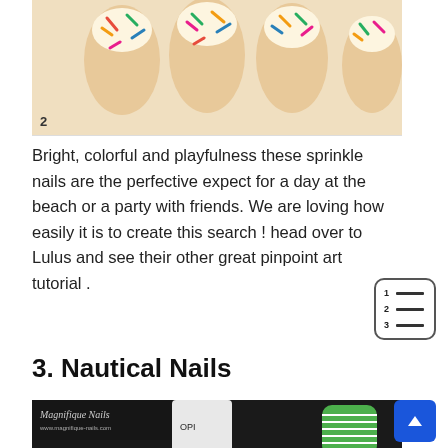[Figure (photo): Close-up photo of fingers with sprinkle nail art on a light beige/cream base with colorful sprinkles (green, yellow, pink, blue) on the nails. Number 2 badge in bottom left corner.]
Bright, colorful and playfulness these sprinkle nails are the perfective expect for a day at the beach or a party with friends. We are loving how easily it is to create this search ! head over to Lulus and see their other great pinpoint art tutorial .
[Figure (infographic): Table of contents icon showing numbered list with 3 rows]
3. Nautical Nails
[Figure (photo): Close-up photo of nautical nail art. Shows Magnifique Nails watermark, OPI nail polish bottle, and nail with green striped and blue anchor design.]